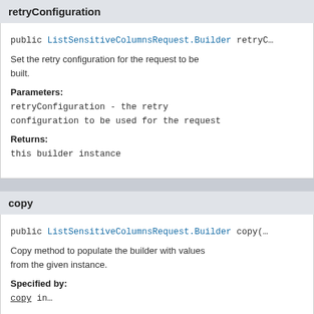retryConfiguration
public ListSensitiveColumnsRequest.Builder retryC…
Set the retry configuration for the request to be built.
Parameters:
retryConfiguration - the retry configuration to be used for the request
Returns:
this builder instance
copy
public ListSensitiveColumnsRequest.Builder copy(…
Copy method to populate the builder with values from the given instance.
Specified by:
copy in…